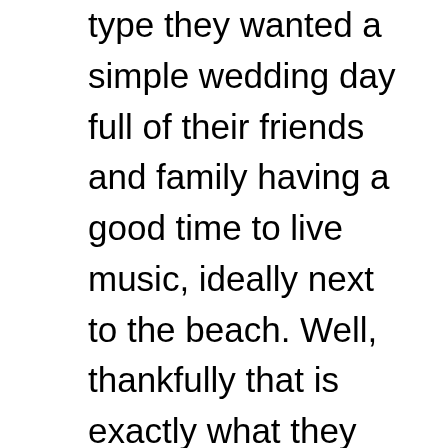type they wanted a simple wedding day full of their friends and family having a good time to live music, ideally next to the beach. Well, thankfully that is exactly what they got. With their wedding ceremony beautifully conducted in a local parish church, we all then ventured to the Seacote hotel at St Bees on the West Cumbrian Cost. A Perfect venue for a West Cumbrian Wedding!

Craig and Chantel met in a local pub back in 2007, to get Chantel's attention like the sly dawg he is Craig offered to buy her some pork scratchings... classy! Belive it or not though, over the months they did get to know